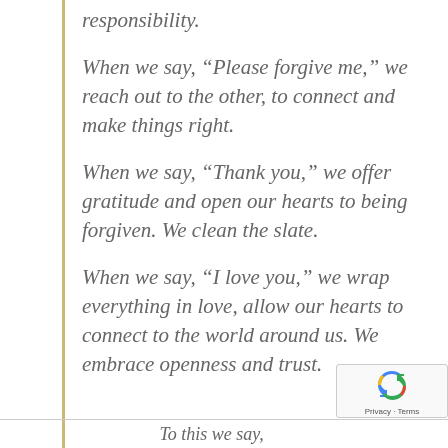responsibility.
When we say, “Please forgive me,” we reach out to the other, to connect and make things right.
When we say, “Thank you,” we offer gratitude and open our hearts to being forgiven. We clean the slate.
When we say, “I love you,” we wrap everything in love, allow our hearts to connect to the world around us. We embrace openness and trust.
To this we say...